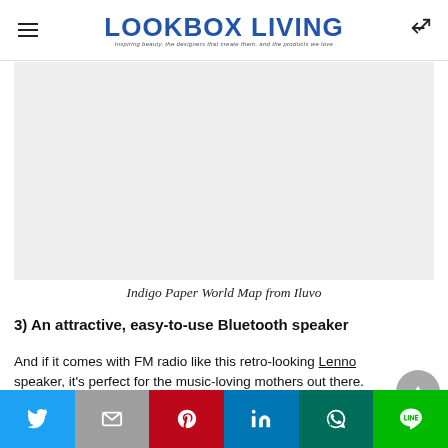LOOKBOX LIVING — Inspiring beauty, the designers that create them, and the products we love
[Figure (photo): Light grey rectangular image area representing an Indigo Paper World Map from Iluvo]
Indigo Paper World Map from Iluvo
3) An attractive, easy-to-use Bluetooth speaker
And if it comes with FM radio like this retro-looking Lenno speaker, it's perfect for the music-loving mothers out there.